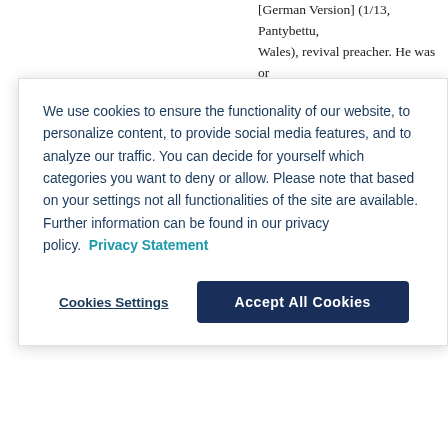[German Version] (1713, Pantybettu, Wales), revival preacher. He was or...
We use cookies to ensure the functionality of our website, to personalize content, to provide social media features, and to analyze our traffic. You can decide for yourself which categories you want to deny or allow. Please note that based on your settings not all functionalities of the site are available. Further information can be found in our privacy policy. Privacy Statement
Cookies Settings
Accept All Cookies
Know-Nothings
(158 words)
Author(s): Noll, Mark A.
[German Version] The Know-Nothings were a secret organization that emerged in the N... and was based on opposition to Ro... society among Protestants, who fea...